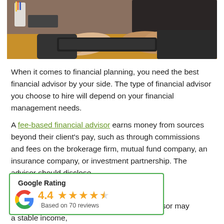[Figure (photo): Photo of person typing on a keyboard at a desk, viewed from above, with office supplies visible]
When it comes to financial planning, you need the best financial advisor by your side. The type of financial advisor you choose to hire will depend on your financial management needs.
A fee-based financial advisor earns money from sources beyond their client's pay, such as through commissions and fees on the brokerage firm, mutual fund company, an insurance company, or investment partnership. The advisor should disclose [beforehand].
[Figure (infographic): Google Rating box showing 4.4 stars based on 70 reviews, with Google G logo and green border]
[fee-based advisor may provide] a stable income, reducing the chances to push products with high